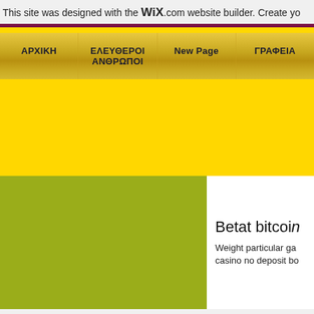This site was designed with the WiX.com website builder. Create yo
ΑΡΧΙΚΗ
ΕΛΕΥΘΕΡΟΙ ΑΝΘΡΩΠΟΙ
New Page
ΓΡΑΦΕΙΑ
Betat bitcoin
Weight particular ga... casino no deposit bo...